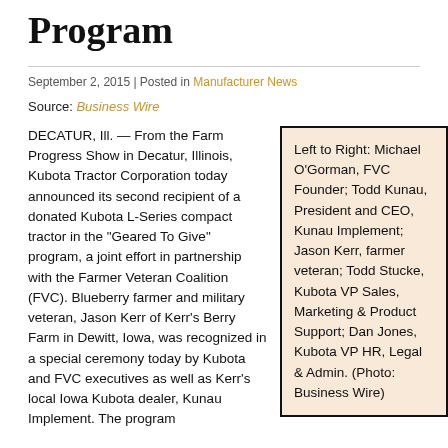Program
September 2, 2015 | Posted in Manufacturer News
Source: Business Wire
DECATUR, Ill. — From the Farm Progress Show in Decatur, Illinois, Kubota Tractor Corporation today announced its second recipient of a donated Kubota L-Series compact tractor in the "Geared To Give" program, a joint effort in partnership with the Farmer Veteran Coalition (FVC). Blueberry farmer and military veteran, Jason Kerr of Kerr's Berry Farm in Dewitt, Iowa, was recognized in a special ceremony today by Kubota and FVC executives as well as Kerr's local Iowa Kubota dealer, Kunau Implement. The program
Left to Right: Michael O'Gorman, FVC Founder; Todd Kunau, President and CEO, Kunau Implement; Jason Kerr, farmer veteran; Todd Stucke, Kubota VP Sales, Marketing & Product Support; Dan Jones, Kubota VP HR, Legal & Admin. (Photo: Business Wire)